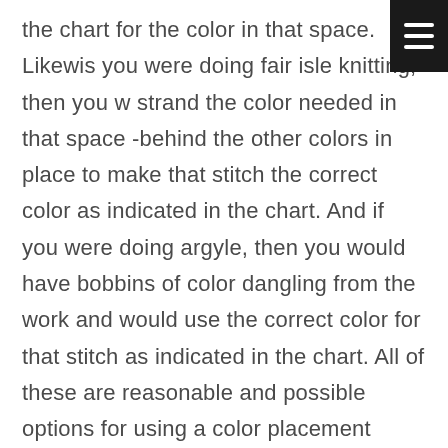the chart for the color in that space. Likewise, you were doing fair isle knitting, then you would strand the color needed in that space -behind the other colors in place to make that stitch the correct color as indicated in the chart. And if you were doing argyle, then you would have bobbins of color dangling from the work and would use the correct color for that stitch as indicated in the chart. All of these are reasonable and possible options for using a color placement chart like this one.